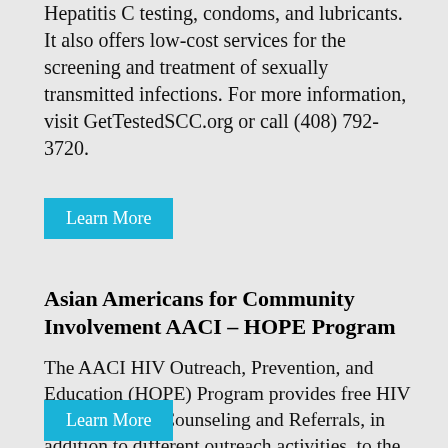Hepatitis C testing, condoms, and lubricants. It also offers low-cost services for the screening and treatment of sexually transmitted infections. For more information, visit GetTestedSCC.org or call (408) 792-3720.
Learn More
Asian Americans for Community Involvement AACI – HOPE Program
The AACI HIV Outreach, Prevention, and Education (HOPE) Program provides free HIV Rapid Testing, Counseling and Referrals, in addition to different outreach activities, to the community in Santa Clara County.
Learn More